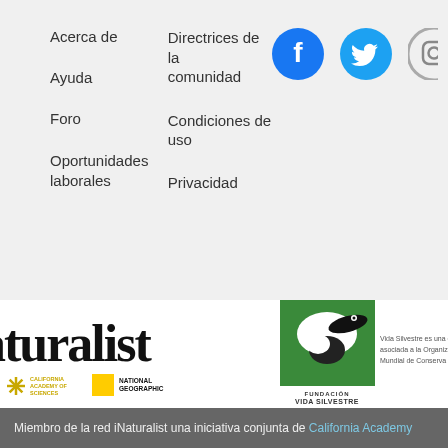Acerca de
Ayuda
Foro
Oportunidades laborales
Directrices de la comunidad
Condiciones de uso
Privacidad
[Figure (logo): Facebook social media icon - blue circle with white F]
[Figure (logo): Twitter social media icon - blue circle with white bird]
[Figure (logo): Instagram social media icon - partially visible circle]
[Figure (logo): iNaturalist text logo in large bold serif font, partially cropped showing 'aturalist']
[Figure (logo): California Academy of Sciences logo - yellow snowflake/asterisk with text]
[Figure (logo): National Geographic logo - yellow square with text NATIONAL GEOGRAPHIC]
[Figure (logo): Fundacion Vida Silvestre Argentina - green square with anteater illustration and organization name]
Vida Silvestre es una em asociada a la Organiza Mundial de Conserva
Miembro de la red iNaturalist una iniciativa conjunta de California Academy